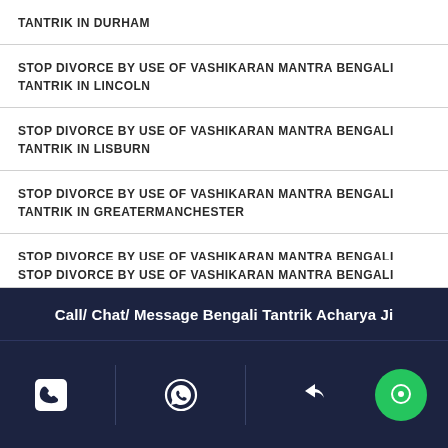TANTRIK IN DURHAM
STOP DIVORCE BY USE OF VASHIKARAN MANTRA BENGALI TANTRIK IN LINCOLN
STOP DIVORCE BY USE OF VASHIKARAN MANTRA BENGALI TANTRIK IN LISBURN
STOP DIVORCE BY USE OF VASHIKARAN MANTRA BENGALI TANTRIK IN GREATERMANCHESTER
STOP DIVORCE BY USE OF VASHIKARAN MANTRA BENGALI TANTRIK IN READING
STOP DIVORCE BY USE OF VASHIKARAN MANTRA BENGALI (partially visible)
Call/ Chat/ Message Bengali Tantrik Acharya Ji
[Figure (infographic): Bottom action bar with phone icon, WhatsApp icon, share icon, and green chat/message icon button]